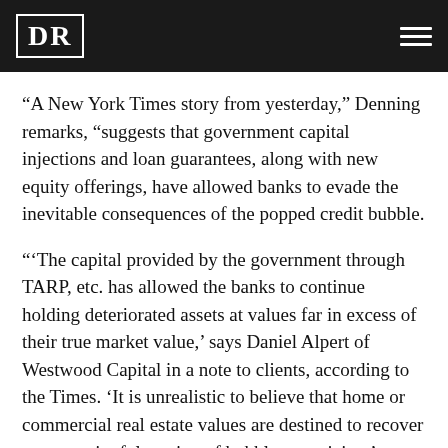DR
“A New York Times story from yesterday,” Denning remarks, “suggests that government capital injections and loan guarantees, along with new equity offerings, have allowed banks to evade the inevitable consequences of the popped credit bubble.
“‘The capital provided by the government through TARP, etc. has allowed the banks to continue holding deteriorated assets at values far in excess of their true market value,’ says Daniel Alpert of Westwood Capital in a note to clients, according to the Times. ‘It is unrealistic to believe that home or commercial real estate values are destined to recover any meaningful portion of bubble-era pricing.’